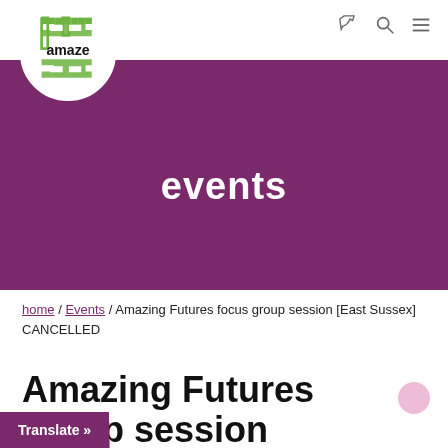[Figure (logo): Amaze logo with green maze pattern in white circle and 'amaze' text in bold black]
[Figure (other): Navigation icons: phone, search, and hamburger menu]
events
home / Events / Amazing Futures focus group session [East Sussex] CANCELLED
Amazing Futures focus group session